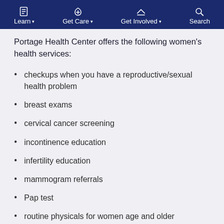Learn  Get Care  Get Involved  Search
Portage Health Center offers the following women's health services:
checkups when you have a reproductive/sexual health problem
breast exams
cervical cancer screening
incontinence education
infertility education
mammogram referrals
Pap test
routine physicals for women age and older
urinary tract infection (UTI) testing and treatment